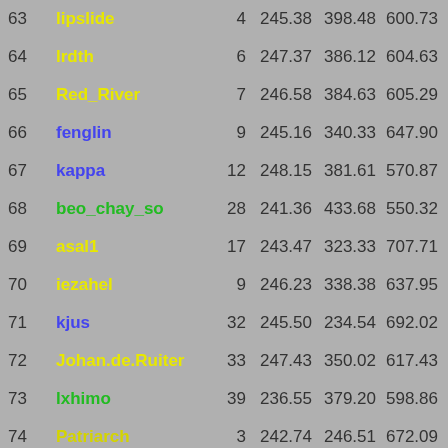| Rank | Name | N | Val1 | Val2 | Val3 | Bonus | Total |
| --- | --- | --- | --- | --- | --- | --- | --- |
| 63 | lipslide | 4 | 245.38 | 398.48 | 600.73 |  | 1242. |
| 64 | lrdth | 6 | 247.37 | 386.12 | 604.63 |  | 1238. |
| 65 | Red_River | 7 | 246.58 | 384.63 | 605.29 |  | 1236. |
| 66 | fenglin | 9 | 245.16 | 340.33 | 647.90 |  | 1233. |
| 67 | kappa | 12 | 248.15 | 381.61 | 570.87 | +25 | 1225. |
| 68 | beo_chay_so | 28 | 241.36 | 433.68 | 550.32 |  | 1225. |
| 69 | asal1 | 17 | 243.47 | 323.33 | 707.71 | -50 | 1224. |
| 70 | iezahel | 9 | 246.23 | 338.38 | 637.95 |  | 1222. |
| 71 | kjus | 32 | 245.50 | 234.54 | 692.02 | +50 | 1222. |
| 72 | Johan.de.Ruiter | 33 | 247.43 | 350.02 | 617.43 |  | 1214. |
| 73 | lxhimo | 39 | 236.55 | 379.20 | 598.86 |  | 1214. |
| 74 | Patriarch | 3 | 242.74 | 246.51 | 672.09 | +50 | 1211. |
| 75 | sunmoonstar | 10 | 245.01 | 422.48 | 538.48 |  | 1205. |
| 76 | nakajima | 37 | 246.04 | 364.69 | 595.02 |  | 1205. |
| 77 | Benni_F | 6 | 245.78 | 392.63 | 566.63 |  | 1205. |